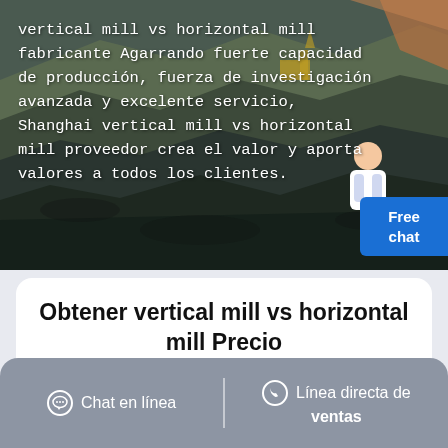[Figure (photo): Aerial view of an open-pit mining operation with heavy machinery, dark rock terrain and excavator equipment visible from above.]
vertical mill vs horizontal mill fabricante Agarrando fuerte capacidad de producción, fuerza de investigación avanzada y excelente servicio, Shanghai vertical mill vs horizontal mill proveedor crea el valor y aporta valores a todos los clientes.
Obtener vertical mill vs horizontal mill Precio
supplier@cfcw.com
Chat en línea | Línea directa de ventas